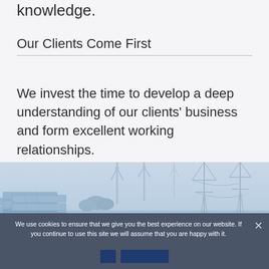knowledge.
Our Clients Come First
We invest the time to develop a deep understanding of our clients' business and form excellent working relationships.
[Figure (photo): Aerial view of solar panels and wind turbines with electricity transmission towers in a blue-tinted landscape]
We use cookies to ensure that we give you the best experience on our website. If you continue to use this site we will assume that you are happy with it.